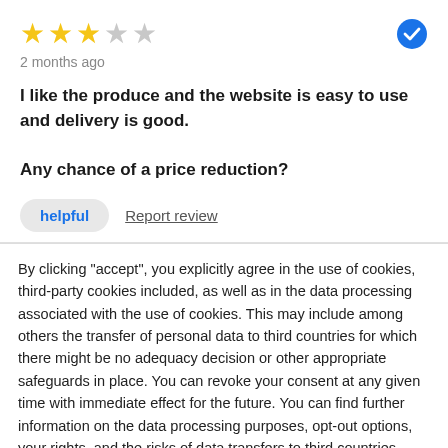[Figure (other): 3 filled gold stars and 2 empty gray stars rating (3 out of 5), with a blue verified checkmark badge on the right]
2 months ago
I like the produce and the website is easy to use and delivery is good.

Any chance of a price reduction?
helpful   Report review
By clicking "accept", you explicitly agree in the use of cookies, third-party cookies included, as well as in the data processing associated with the use of cookies. This may include among others the transfer of personal data to third countries for which there might be no adequacy decision or other appropriate safeguards in place. You can revoke your consent at any given time with immediate effect for the future. You can find further information on the data processing purposes, opt-out options, your rights, and the risks of data transfers to third countries here.
ACCEPT